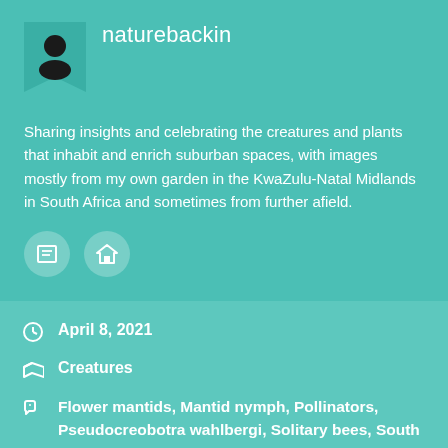naturebackin
Sharing insights and celebrating the creatures and plants that inhabit and enrich suburban spaces, with images mostly from my own garden in the KwaZulu-Natal Midlands in South Africa and sometimes from further afield.
April 8, 2021
Creatures
Flower mantids, Mantid nymph, Pollinators, Pseudocreobotra wahlbergi, Solitary bees, South African insects, Spiny flower mantid, Suburban garden South Africa, Urban wildlife KwaZulu-Natal